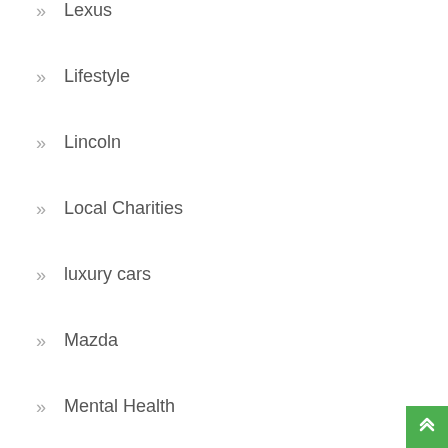Lexus
Lifestyle
Lincoln
Local Charities
luxury cars
Mazda
Mental Health
Mercedes-Benz
Mini
Minivans